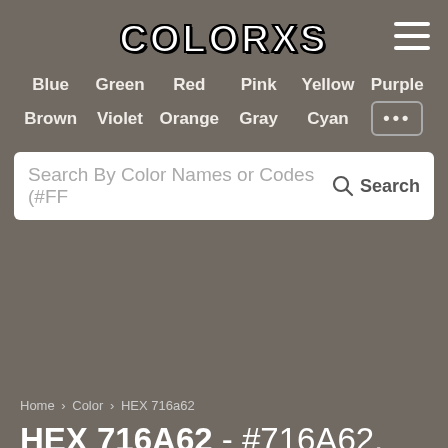COLORXS
Blue
Green
Red
Pink
Yellow
Purple
Brown
Violet
Orange
Gray
Cyan
Search By Color Names or Codes (#FF
Home > Color > HEX 716a62
HEX 716A62 - #716A62,